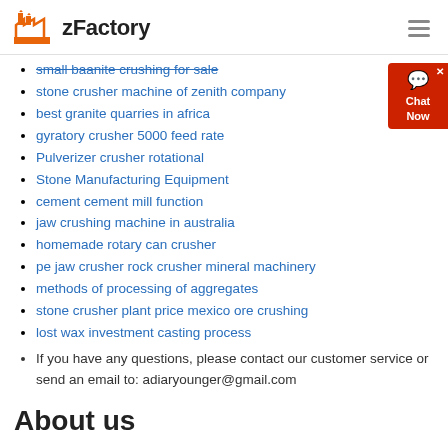zFactory
small baanite crushing for sale
stone crusher machine of zenith company
best granite quarries in africa
gyratory crusher 5000 feed rate
Pulverizer crusher rotational
Stone Manufacturing Equipment
cement cement mill function
jaw crushing machine in australia
homemade rotary can crusher
pe jaw crusher rock crusher mineral machinery
methods of processing of aggregates
stone crusher plant price mexico ore crushing
lost wax investment casting process
If you have any questions, please contact our customer service or send an email to: adiaryounger@gmail.com
About us